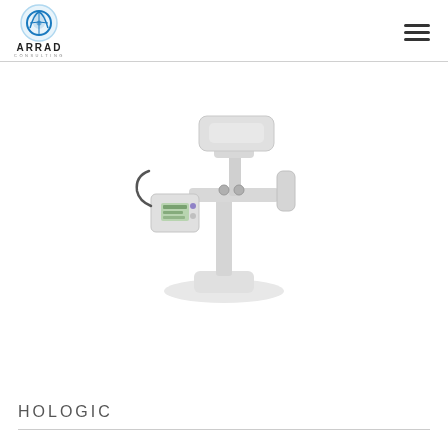ARRAD CONSULTING
[Figure (photo): Hologic medical imaging device - a white desktop mammography or biopsy unit with robotic arm, control panel with green display screen, and articulating arm mechanism on a white base]
HOLOGIC